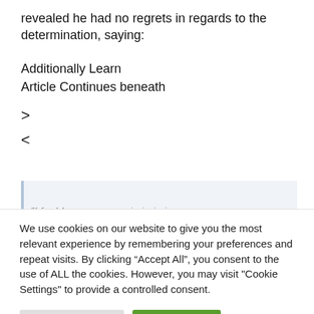revealed he had no regrets in regards to the determination, saying:
Additionally Learn
Article Continues beneath
> <
"I found I/I ............... i i i i . . . .
We use cookies on our website to give you the most relevant experience by remembering your preferences and repeat visits. By clicking “Accept All”, you consent to the use of ALL the cookies. However, you may visit "Cookie Settings" to provide a controlled consent.